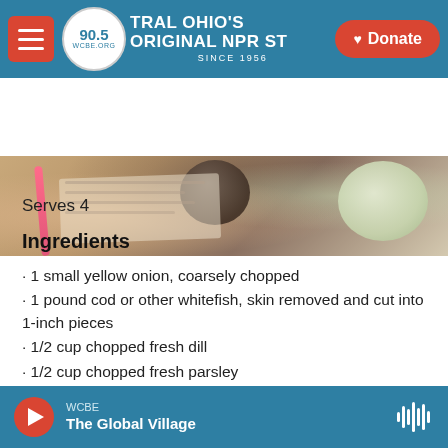90.5 WCBE — CENTRAL OHIO'S ORIGINAL NPR STATION — SINCE 1956
[Figure (photo): Food photograph showing a bowl with green herbs and cooking ingredients on a wooden surface with a pink straw-like utensil]
Serves 4
Ingredients
· 1 small yellow onion, coarsely chopped
· 1 pound cod or other whitefish, skin removed and cut into 1-inch pieces
· 1/2 cup chopped fresh dill
· 1/2 cup chopped fresh parsley
· 1/4 cup flour
WCBE — The Global Village